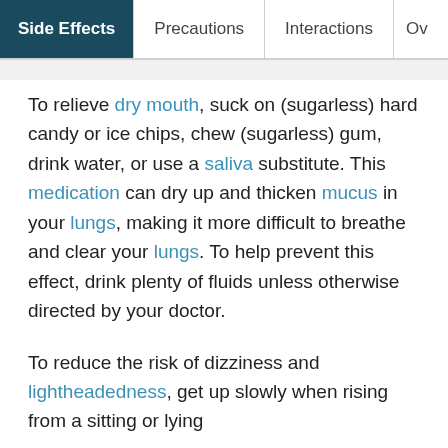Side Effects | Precautions | Interactions | Ov
To relieve dry mouth, suck on (sugarless) hard candy or ice chips, chew (sugarless) gum, drink water, or use a saliva substitute. This medication can dry up and thicken mucus in your lungs, making it more difficult to breathe and clear your lungs. To help prevent this effect, drink plenty of fluids unless otherwise directed by your doctor.
To reduce the risk of dizziness and lightheadedness, get up slowly when rising from a sitting or lying
ADVERTISEMENT